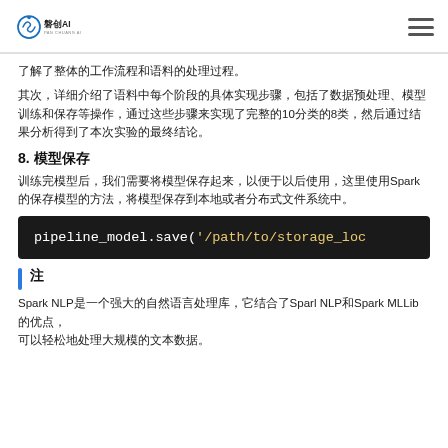磐创AI
了解了整体的工作流程和语料的处理过程。
其次，详细介绍了语料中每个阶段的具体实现步骤，包括了数据预处理、模型训练和保存等操作，通过这些步骤来实现了完整的10分类的8类，然后通过结果分析得到了本次实验的最终结论。
8. 模型保存
训练完模型后，我们需要将模型保存起来，以便于以后使用，这里使用Spark的保存模型的方法，将模型保存到本地或者分布式文件系统中。
pipeline_model.save('/path/to/storage_loc
注
Spark NLP是一个强大的自然语言处理库，它结合了Sparl NLP和Spark MLLib的优点，
可以轻松地处理大规模的文本数据。